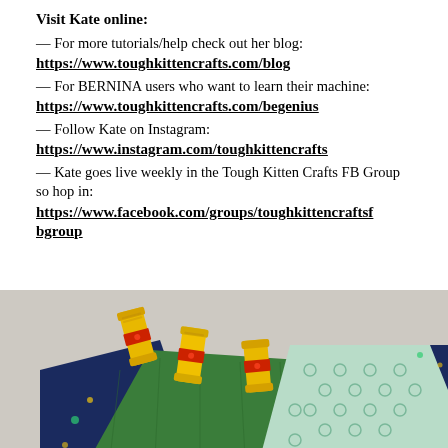Visit Kate online:
— For more tutorials/help check out her blog:
https://www.toughkittencrafts.com/blog
— For BERNINA users who want to learn their machine:
https://www.toughkittencrafts.com/begenius
— Follow Kate on Instagram:
https://www.instagram.com/toughkittencrafts
— Kate goes live weekly in the Tough Kitten Crafts FB Group so hop in:
https://www.facebook.com/groups/toughkittencraftsfbgroup
[Figure (photo): Three yellow thread spools on top of quilting fabric pieces including dark navy with dots pattern, green textured fabric, and light mint with circle pattern.]